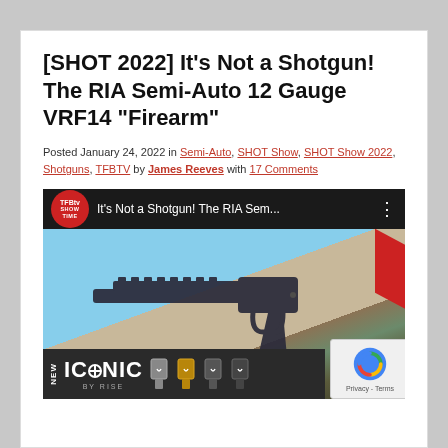[SHOT 2022] It's Not a Shotgun! The RIA Semi-Auto 12 Gauge VRF14 "Firearm"
Posted January 24, 2022 in Semi-Auto, SHOT Show, SHOT Show 2022, Shotguns, TFBTV by James Reeves with 17 Comments
[Figure (screenshot): YouTube video thumbnail showing TFBTV Show Time logo, video title 'It's Not a Shotgun! The RIA Sem...' with three-dot menu, and an image of a firearm (RIA VRF14) on a range background, with an ICONIC by Rise advertisement bar at the bottom]